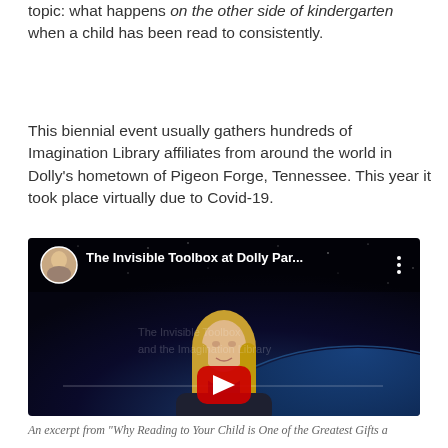topic: what happens on the other side of kindergarten when a child has been read to consistently.
This biennial event usually gathers hundreds of Imagination Library affiliates from around the world in Dolly's hometown of Pigeon Forge, Tennessee. This year it took place virtually due to Covid-19.
[Figure (screenshot): YouTube video thumbnail titled 'The Invisible Toolbox at Dolly Par...' showing a woman with blonde hair against a space/earth background, with a red YouTube play button in the center and a circular channel avatar in the top left.]
An excerpt from "Why Reading to Your Child is One of the Greatest Gifts a